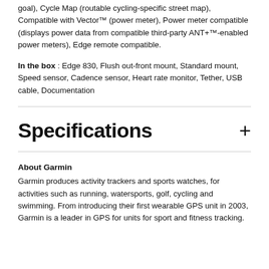goal), Cycle Map (routable cycling-specific street map), Compatible with Vector™ (power meter), Power meter compatible (displays power data from compatible third-party ANT+™-enabled power meters), Edge remote compatible.
In the box : Edge 830, Flush out-front mount, Standard mount, Speed sensor, Cadence sensor, Heart rate monitor, Tether, USB cable, Documentation
Specifications
About Garmin
Garmin produces activity trackers and sports watches, for activities such as running, watersports, golf, cycling and swimming. From introducing their first wearable GPS unit in 2003, Garmin is a leader in GPS for units for sport and fitness tracking.